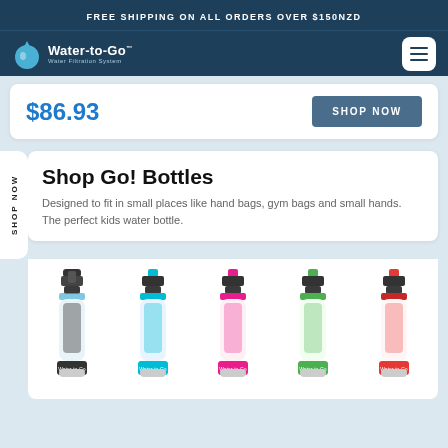FREE SHIPPING ON ALL ORDERS OVER $150NZD
[Figure (logo): Water-to-Go Water Filtration System logo with water drop icon]
$86.93
SHOP NOW
Shop Go! Bottles
Designed to fit in small places like hand bags, gym bags and small hands. The perfect kids water bottle.
[Figure (photo): Five Water-to-Go Go! Bottles in different colors: black, blue, pink, green, and red/orange, each with a colored cap and Water-to-Go label at the base.]